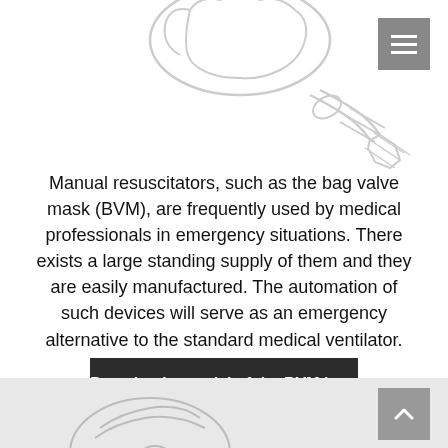[Figure (illustration): Line drawing illustration of a bag valve mask (BVM) resuscitator device components, showing the mask, bag, and connector parts in an exploded view. Partial view cropped at top of page.]
Manual resuscitators, such as the bag valve mask (BVM), are frequently used by medical professionals in emergency situations. There exists a large standing supply of them and they are easily manufactured. The automation of such devices will serve as an emergency alternative to the standard medical ventilator.
Download a model of the BVM here
[Figure (illustration): Partial line drawing of another medical device component visible at the bottom of the page on a gray background.]